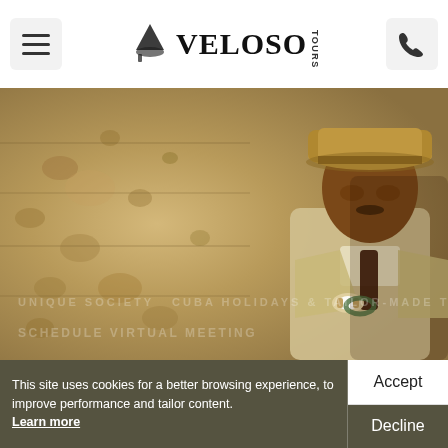Veloso Tours
[Figure (photo): A man wearing a tan fedora hat and a light suit with a dark tie, standing against a weathered stone wall. The photo has warm, golden tones.]
UNIQUE SOCIETY  CUBA HOLIDAYS & TAILOR-MADE TOURS
SCHEDULE VIRTUAL MEETING
This site uses cookies for a better browsing experience, to improve performance and tailor content.  Learn more
Accept
Decline